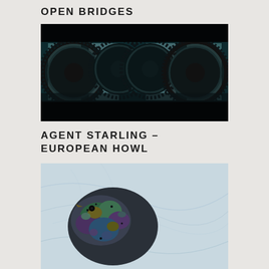OPEN BRIDGES
[Figure (photo): Industrial photograph showing large black gear mechanisms/cogs in a dark industrial setting with light coming through windows behind them, mirrored/symmetrical composition]
AGENT STARLING – EUROPEAN HOWL
[Figure (illustration): Close-up artistic illustration of a European starling bird with iridescent colorful feathers on a light blue/grey abstract background with wispy lines]